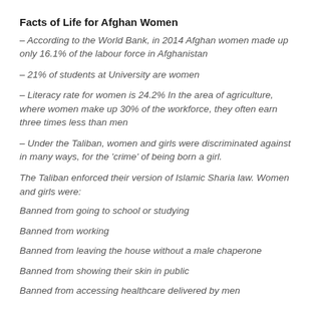Facts of Life for Afghan Women
– According to the World Bank, in 2014 Afghan women made up only 16.1% of the labour force in Afghanistan
– 21% of students at University are women
– Literacy rate for women is 24.2% In the area of agriculture, where women make up 30% of the workforce, they often earn three times less than men
– Under the Taliban, women and girls were discriminated against in many ways, for the 'crime' of being born a girl.
The Taliban enforced their version of Islamic Sharia law. Women and girls were:
Banned from going to school or studying
Banned from working
Banned from leaving the house without a male chaperone
Banned from showing their skin in public
Banned from accessing healthcare delivered by men